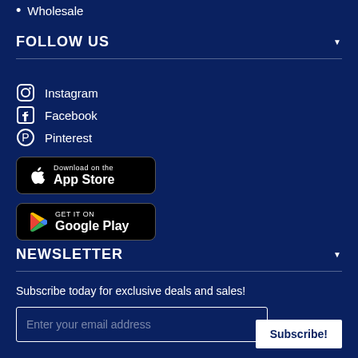Wholesale
FOLLOW US
Instagram
Facebook
Pinterest
[Figure (other): Download on the App Store badge]
[Figure (other): Get it on Google Play badge]
NEWSLETTER
Subscribe today for exclusive deals and sales!
Enter your email address
Subscribe!